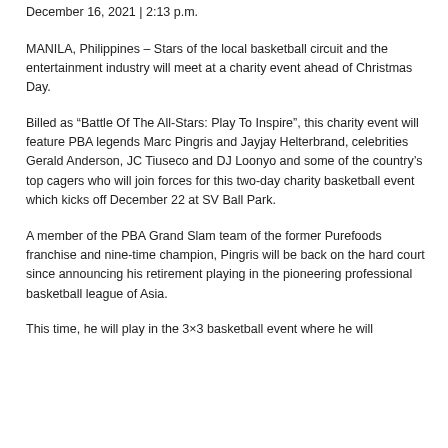December 16, 2021 | 2:13 p.m.
MANILA, Philippines – Stars of the local basketball circuit and the entertainment industry will meet at a charity event ahead of Christmas Day.
Billed as “Battle Of The All-Stars: Play To Inspire”, this charity event will feature PBA legends Marc Pingris and Jayjay Helterbrand, celebrities Gerald Anderson, JC Tiuseco and DJ Loonyo and some of the country’s top cagers who will join forces for this two-day charity basketball event which kicks off December 22 at SV Ball Park.
A member of the PBA Grand Slam team of the former Purefoods franchise and nine-time champion, Pingris will be back on the hard court since announcing his retirement playing in the pioneering professional basketball league of Asia.
This time, he will play in the 3×3 basketball event where he will